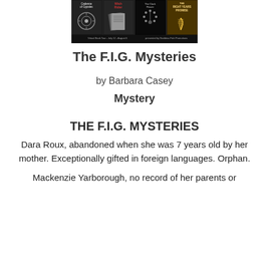[Figure (illustration): Banner image showing four book covers in a row for a virtual book tour: 'Cadence of Gypsies', 'Wish Rider', 'The Clock Flower', and 'The Right Years Promise'. Text below reads 'Virtual Book Tour - July 12 - August 6' and 'presented by Goddess Fish Promotions']
The F.I.G. Mysteries
by Barbara Casey
Mystery
THE F.I.G. MYSTERIES
Dara Roux, abandoned when she was 7 years old by her mother. Exceptionally gifted in foreign languages. Orphan.
Mackenzie Yarborough, no record of her parents or